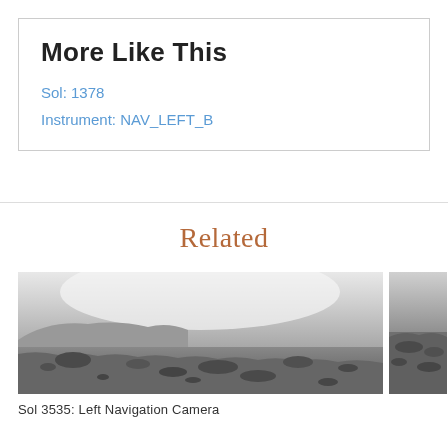More Like This
Sol: 1378
Instrument: NAV_LEFT_B
Related
[Figure (photo): Black and white Mars landscape photograph from Curiosity rover, showing rocky terrain with hills and bright overcast sky]
[Figure (photo): Partial black and white Mars photograph showing rocky terrain, cropped on right edge]
Sol 3535: Left Navigation Camera